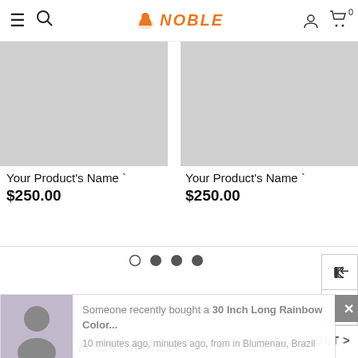NOBLE — navigation header with hamburger, search, logo, account, cart (0)
[Figure (photo): Product image placeholder — grey rectangle, left card]
Your Product's Name `
$250.00
[Figure (photo): Product image placeholder — grey rectangle, right card]
Your Product's Name `
$250.00
[Figure (other): Pagination dots: 4 dots, first is empty circle, rest filled]
[Figure (screenshot): Notification popup: someone recently bought a 30 Inch Long Rainbow Color... 10 minutes ago, minutes ago, from in Blumenau, Brazil — with product thumbnail and close X button]
Someone recently bought a 30 Inch Long Rainbow Color...
10 minutes ago, minutes ago, from in Blumenau, Brazil
< OLDER POST
NEWER POST >
LEAVE A COMMENT